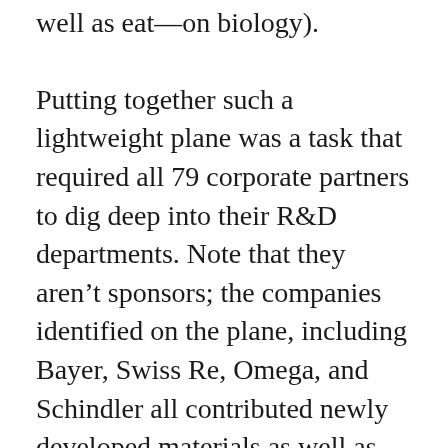well as eat—on biology).
Putting together such a lightweight plane was a task that required all 79 corporate partners to dig deep into their R&D departments. Note that they aren't sponsors; the companies identified on the plane, including Bayer, Swiss Re, Omega, and Schindler all contributed newly developed materials as well as cash. Since even regular glue was too heavy, Bayer MaterialScience developed one that has carbon tubes of nanofiber, and since temps at 30K feet are consistently -40C, extremely light insulating materials were developed (which will now be used in refrigerators and other more terrestrial applications). Due to the high degree of
cooperation (this is a first — a project for all the...